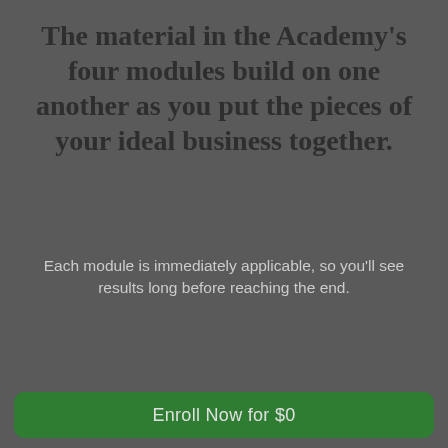The material in the Academy's four modules build on one another as you put the pieces of your ideal business together.
Each module is immediately applicable, so you'll see results long before reaching the end.
MODULE 1 MINDSET
You'll learn:
• How to push through frustrating sticking points in your business.
• The Freedom Number equation. (A
Enroll Now for $0